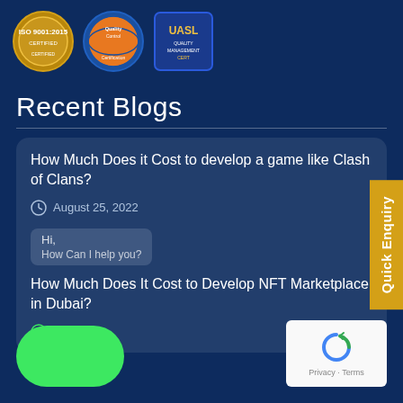[Figure (logo): Three certification logos: ISO 9001:2015 Certified (gold badge), Quality Control Certification (orange globe badge), and UASL Quality Management badge]
Recent Blogs
How Much Does it Cost to develop a game like Clash of Clans?
August 25, 2022
How Much Does It Cost to Develop NFT Marketplace in Dubai?
2022
[Figure (other): Quick Enquiry vertical tab on right side, yellow/gold background]
[Figure (other): Green rounded blob/button at bottom left]
[Figure (other): reCAPTCHA widget at bottom right showing Privacy and Terms]